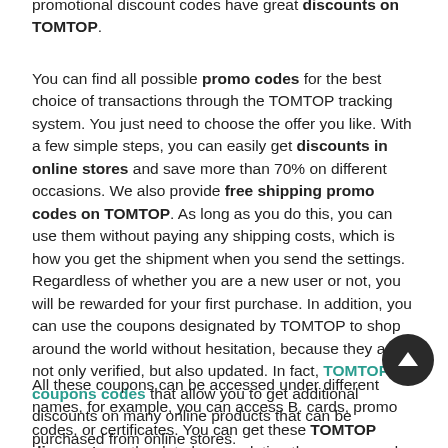promotional discount codes have great discounts on TOMTOP.
You can find all possible promo codes for the best choice of transactions through the TOMTOP tracking system. You just need to choose the offer you like. With a few simple steps, you can easily get discounts in online stores and save more than 70% on different occasions. We also provide free shipping promo codes on TOMTOP. As long as you do this, you can use them without paying any shipping costs, which is how you get the shipment when you send the settings. Regardless of whether you are a new user or not, you will be rewarded for your first purchase. In addition, you can use the coupons designated by TOMTOP to shop around the world without hesitation, because they are not only verified, but also updated. In fact, TOMTOP coupons codes that allow you to get additional discounts on many online products that can be purchased from online stores.
All these coupons can be accessed under different names, for example, you can access B. cards, promo codes, or certificates. You can get these TOMTOP discounts on the date by completing the coupon and code application. The last page of purchase usually has the application of these coupons and codes. Always pay attention to the latest